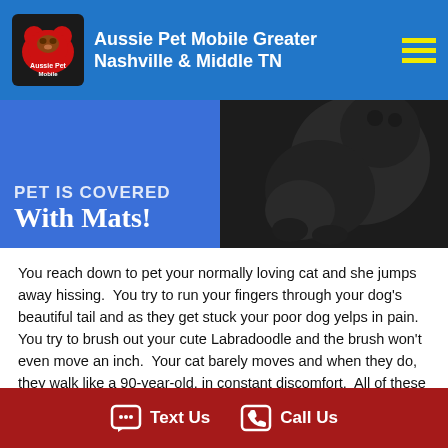Aussie Pet Mobile Greater Nashville & Middle TN
[Figure (photo): Hero image with blue panel showing partial text 'PET IS COVERED WITH MATS!' on the left, and a dark photo of a black curly-haired dog on the right]
You reach down to pet your normally loving cat and she jumps away hissing.  You try to run your fingers through your dog's beautiful tail and as they get stuck your poor dog yelps in pain.  You try to brush out your cute Labradoodle and the brush won't even move an inch.  Your cat barely moves and when they do, they walk like a 90-year-old, in constant discomfort.  All of these things are signs of a badly matted pet.  Mats are not something that will go away. They will get worse and worse until they are dealt with properly.  Luckily, you've found Aussie Pet Mobile and our caring and professional groomers can help you and your pets get back on the right track.
Text Us   Call Us